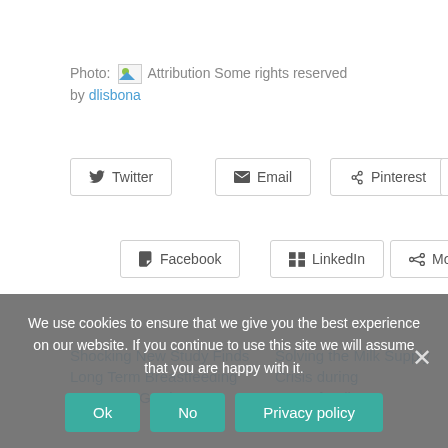Photo: [image] Attribution Some rights reserved by dlisbona
Twitter
Email
Pinterest
Print
Facebook
LinkedIn
More
Shocking New Study Finds Long Term Breastfeeding Increases Grade III
Solving the Milk Supply Crisis during Breastfeeding
June 15, 2008
We use cookies to ensure that we give you the best experience on our website. If you continue to use this site we will assume that you are happy with it.